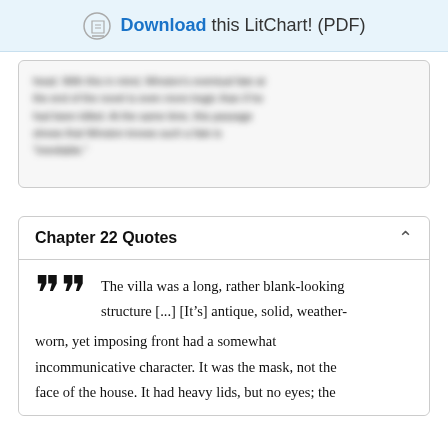Download this LitChart! (PDF)
[blurred/redacted text content]
Chapter 22 Quotes
The villa was a long, rather blank-looking structure [...] [It’s] antique, solid, weather-worn, yet imposing front had a somewhat incommunicative character. It was the mask, not the face of the house. It had heavy lids, but no eyes; the